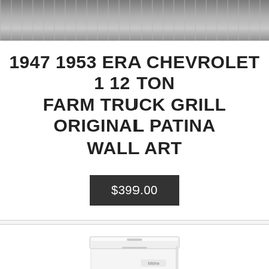[Figure (photo): Partial top image showing a weathered wooden surface background, cropped at the top of the page.]
1947 1953 ERA CHEVROLET 1 12 TON FARM TRUCK GRILL ORIGINAL PATINA WALL ART
$399.00
[Figure (photo): White Midea chest freezer product photo on white background, partially cropped at bottom of page.]